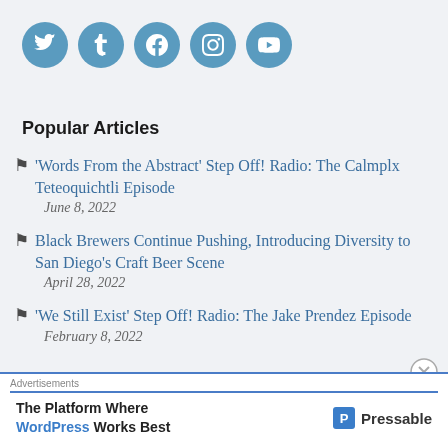[Figure (illustration): Row of five social media icon circles (Twitter, Tumblr, Facebook, Instagram, YouTube) in blue]
Popular Articles
'Words From the Abstract' Step Off! Radio: The Calmplx Teteoquichtli Episode — June 8, 2022
Black Brewers Continue Pushing, Introducing Diversity to San Diego's Craft Beer Scene — April 28, 2022
'We Still Exist' Step Off! Radio: The Jake Prendez Episode — February 8, 2022
Advertisements The Platform Where WordPress Works Best — Pressable